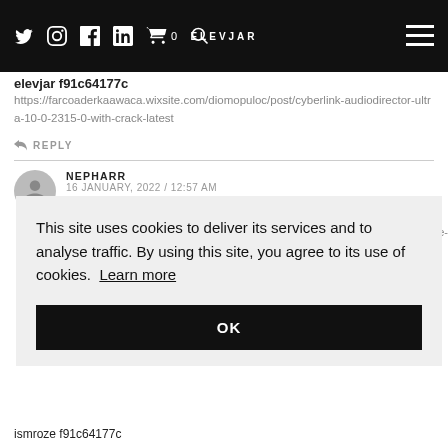ELEVJAR — navigation bar with social icons
elevjar f91c64177c
https://farcoaderkaawaca.wixsite.com/diomopuloc/post/cyberlink-audiodirector-ultra-10-0-2315-0-with-crack-latest
REPLY
NEPHARR
16 JANUARY, 2022 / 12:57 AM
[Figure (screenshot): Cookie consent banner overlay with text: 'This site uses cookies to deliver its services and to analyse traffic. By using this site, you agree to its use of cookies. Learn more' and an OK button.]
ismroze f91c64177c